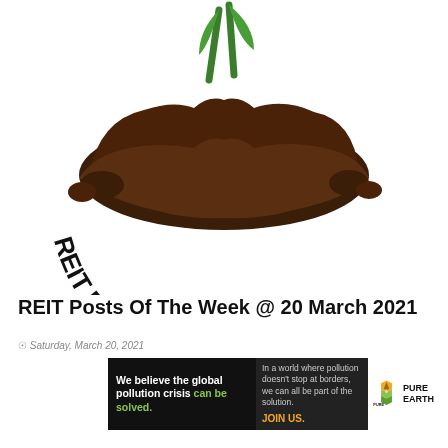[Figure (logo): REIT Posts Of The Week logo: a mound of soil with green plant sprouts growing from it, surrounded by curved text reading 'REIT POSTS OF THE WEEK' in 3D black block letters with white outlines, arranged in a smile/arc below the mound.]
REIT Posts Of The Week @  20 March 2021
Saturday, March 20, 2021
[Figure (infographic): Pure Earth advertisement banner. Black background left panel: 'We believe the global pollution crisis can be solved.' with 'can be solved.' in green. Middle panel lighter black: 'In a world where pollution doesn't stop at borders, we can all be part of the solution. JOIN US.' in orange. Right panel white with Pure Earth logo (diamond/chevron icon in orange and green) and text PURE EARTH in bold black.]